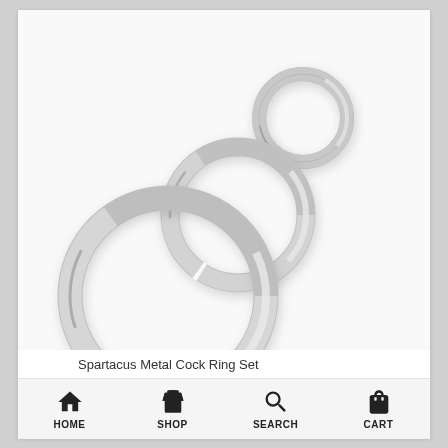[Figure (photo): Three silver metal cock rings of different sizes arranged diagonally from lower-left (largest) to upper-right (smallest) on a white/light gray background.]
Spartacus Metal Cock Ring Set
HOME  SHOP  SEARCH  CART